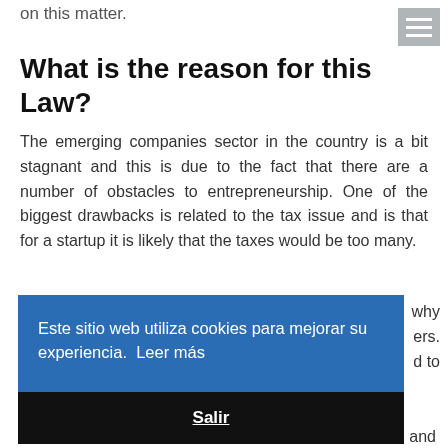on this matter.
What is the reason for this Law?
The emerging companies sector in the country is a bit stagnant and this is due to the fact that there are a number of obstacles to entrepreneurship. One of the biggest drawbacks is related to the tax issue and is that for a startup it is likely that the taxes would be too many.
Este sitio web utiliza cookies para mejorar su experiencia. Leer más
Salir
why
ers.
d to
and